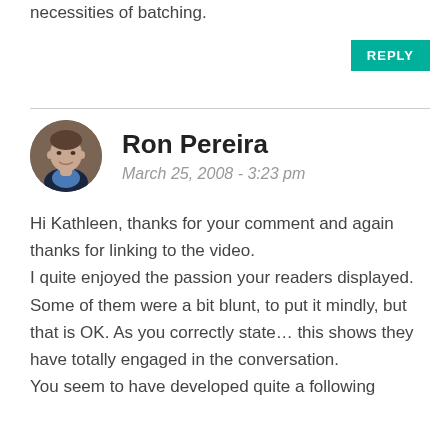necessities of batching.
REPLY
Ron Pereira
March 25, 2008 - 3:23 pm
Hi Kathleen, thanks for your comment and again thanks for linking to the video.
I quite enjoyed the passion your readers displayed. Some of them were a bit blunt, to put it mindly, but that is OK. As you correctly state… this shows they have totally engaged in the conversation.
You seem to have developed quite a following